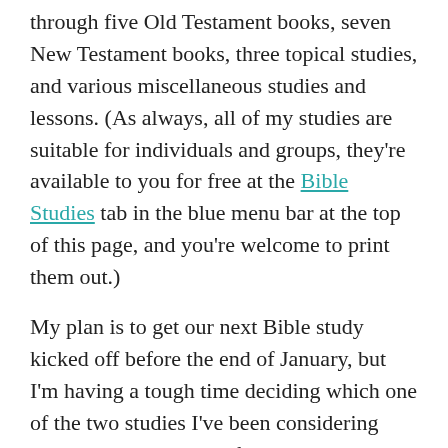through five Old Testament books, seven New Testament books, three topical studies, and various miscellaneous studies and lessons. (As always, all of my studies are suitable for individuals and groups, they're available to you for free at the Bible Studies tab in the blue menu bar at the top of this page, and you're welcome to print them out.)
My plan is to get our next Bible study kicked off before the end of January, but I'm having a tough time deciding which one of the two studies I've been considering would be the right one for right now.
That's where you come in. I would greatly appreciate your input as I make this decision. So let me tell you a little bit about the two studies I have in mind, and then you can let me know what you think.
Which one of the two studies should I choose this time...